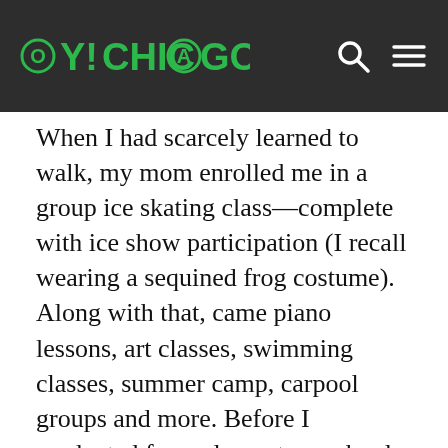OY!CHICAGO
When I had scarcely learned to walk, my mom enrolled me in a group ice skating class—complete with ice show participation (I recall wearing a sequined frog costume). Along with that, came piano lessons, art classes, swimming classes, summer camp, carpool groups and more. Before I graduated from elementary school, I knew it was time to leave my mark on society and run for student council. I blew the elementary school gymnasium away with my candidate speech for secretary.
That desire to be grouped continues through our school years, but I think it's sometimes forgotten after we graduate college—a period in our lives when we are